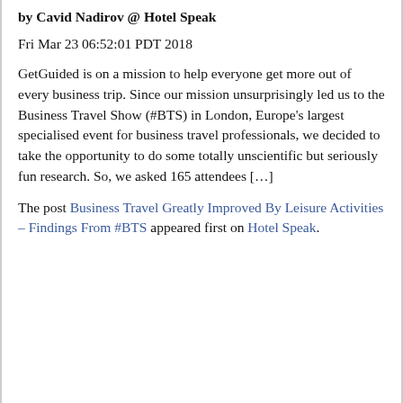by Cavid Nadirov @ Hotel Speak
Fri Mar 23 06:52:01 PDT 2018
GetGuided is on a mission to help everyone get more out of every business trip. Since our mission unsurprisingly led us to the Business Travel Show (#BTS) in London, Europe's largest specialised event for business travel professionals, we decided to take the opportunity to do some totally unscientific but seriously fun research. So, we asked 165 attendees […]
The post Business Travel Greatly Improved By Leisure Activities – Findings From #BTS appeared first on Hotel Speak.